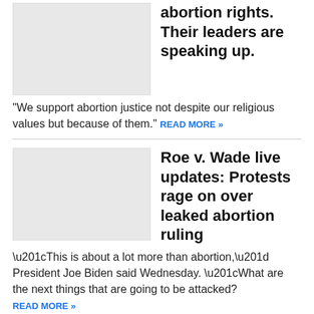[Figure (photo): Placeholder thumbnail image (light gray box) for article about religious groups supporting abortion rights]
abortion rights. Their leaders are speaking up.
"We support abortion justice not despite our religious values but because of them." READ MORE »
[Figure (photo): Placeholder thumbnail image (light gray box) for article about Roe v. Wade live updates]
Roe v. Wade live updates: Protests rage on over leaked abortion ruling
“This is about a lot more than abortion,” President Joe Biden said Wednesday. “What are the next things that are going to be attacked? READ MORE »
[Figure (photo): Placeholder thumbnail image (light gray box) for article about woman accused of 1996 fatal stabbing]
Woman accused of 1996 fatal stabbing in